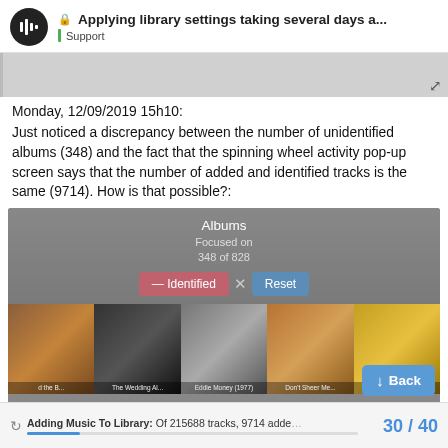🔒 Applying library settings taking several days a... | Support
[Figure (screenshot): Partially visible screenshot with a left border bar and expand icon]
Monday, 12/09/2019 15h10:
Just noticed a discrepancy between the number of unidentified albums (348) and the fact that the spinning wheel activity pop-up screen says that the number of added and identified tracks is the same (9714). How is that possible?:
[Figure (screenshot): Screenshot of a music library UI showing Albums filter. Focused on 348 of 828. Active filter button: — Identified x, and a Reset button. Below are album thumbnails: partial album covers labeled 'd the B...', 'The Wedding Al...', 'Eddie Money (1977)', 'Don't Sheer Me...', 'Larkey (197...'. A blue Back button is visible bottom right. Bottom bar shows: Adding Music To Library: Of 215688 tracks, 9714 adde... and progress bar.]
30 / 40